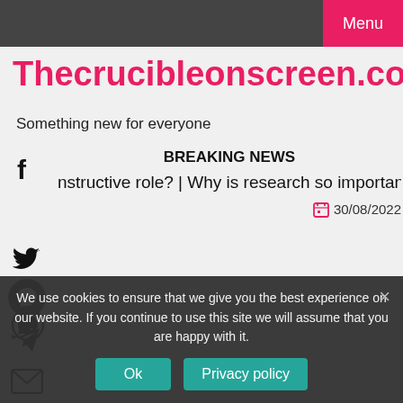Menu
Thecrucibleonscreen.com
Something new for everyone
BREAKING NEWS
nstructive role?  |  Why is research so important?  |  Did Ach
30/08/2022
We use cookies to ensure that we give you the best experience on our website. If you continue to use this site we will assume that you are happy with it.